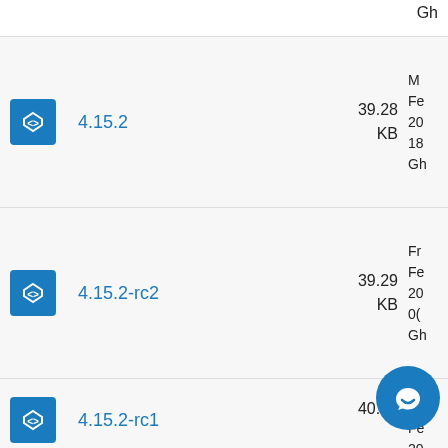Gh
4.15.2 — 39.28 KB — Feb 2018 Gh
4.15.2-rc2 — 39.29 KB — Feb 2000 Gh
4.15.2-rc1 — 40.15 KB — Tue Feb 2000 Gh